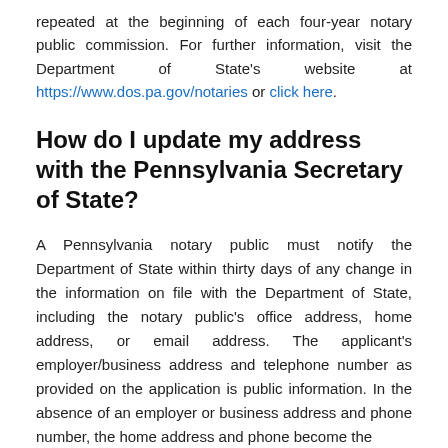repeated at the beginning of each four-year notary public commission. For further information, visit the Department of State's website at https://www.dos.pa.gov/notaries or click here.
How do I update my address with the Pennsylvania Secretary of State?
A Pennsylvania notary public must notify the Department of State within thirty days of any change in the information on file with the Department of State, including the notary public's office address, home address, or email address. The applicant's employer/business address and telephone number as provided on the application is public information. In the absence of an employer or business address and phone number, the home address and phone become the